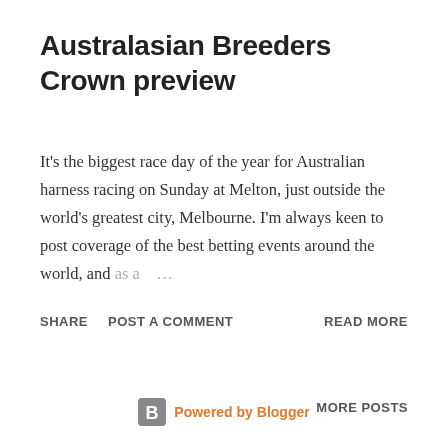Australasian Breeders Crown preview
It's the biggest race day of the year for Australian harness racing on Sunday at Melton, just outside the world's greatest city, Melbourne. I'm always keen to post coverage of the best betting events around the world, and as a …
SHARE   POST A COMMENT   READ MORE
MORE POSTS
Powered by Blogger